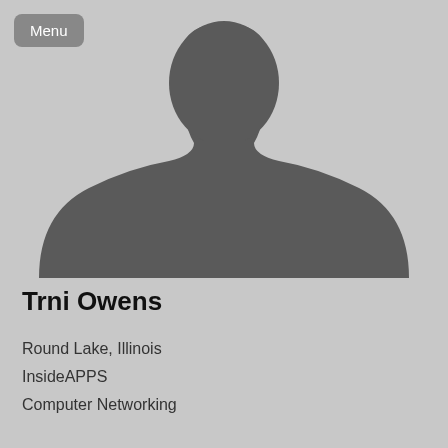[Figure (illustration): Default silhouette avatar placeholder image showing the outline of a person's head and shoulders on a light gray background]
Menu
Trni Owens
Round Lake, Illinois
InsideAPPS
Computer Networking